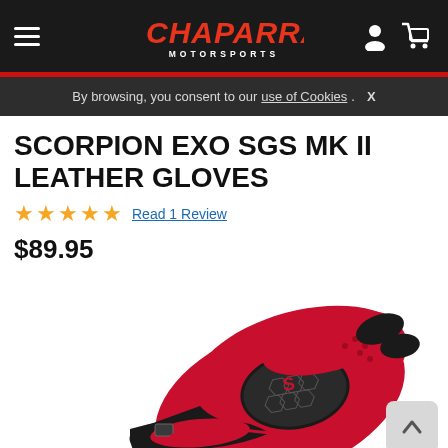Chaparral Motorsports
By browsing, you consent to our use of Cookies. X
SCORPION EXO SGS MK II LEATHER GLOVES
★★★★★ Read 1 Review
$89.95
[Figure (photo): Red and black Scorpion EXO SGS MK II leather motorcycle glove with carbon fiber knuckle protection, shown against white background.]